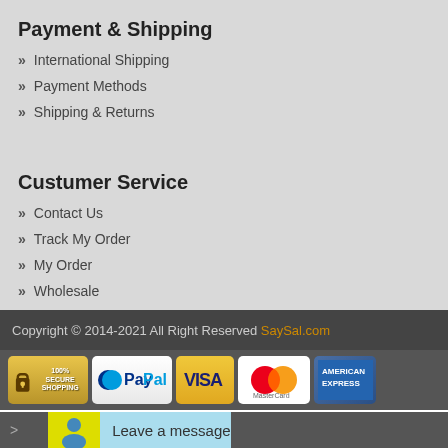Payment & Shipping
International Shipping
Payment Methods
Shipping & Returns
Custumer Service
Contact Us
Track My Order
My Order
Wholesale
Copyright © 2014-2021 All Right Reserved SaySal.com
[Figure (logo): Payment method icons: 100% Secure Shopping, PayPal, VISA, MasterCard, American Express]
[Figure (infographic): Live chat button with person icon and 'Leave a message' text on light blue background]